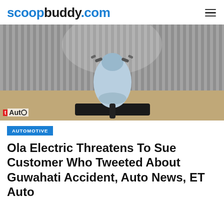scoopbuddy.com
[Figure (photo): A light blue electric scooter (Ola Electric) parked on a black mat against a corrugated metal wall background, with ET Auto watermark in the bottom-left corner.]
AUTOMOTIVE
Ola Electric Threatens To Sue Customer Who Tweeted About Guwahati Accident, Auto News, ET Auto